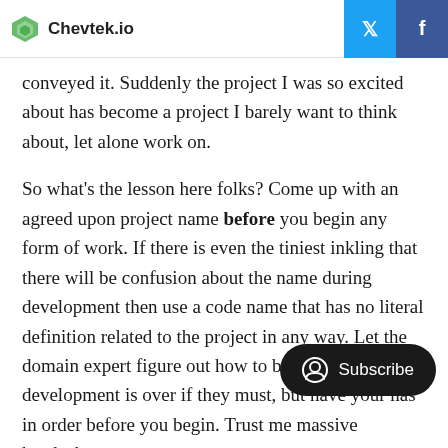Chevtek.io
conveyed it. Suddenly the project I was so excited about has become a project I barely want to think about, let alone work on.
So what's the lesson here folks? Come up with an agreed upon project name before you begin any form of work. If there is even the tiniest inkling that there will be confusion about the name during development then use a code name that has no literal definition related to the project in any way. Let the domain expert figure out how to brand it after development is over if they must, but have your names in order before you begin. Trust me, it'll save you massive headaches.